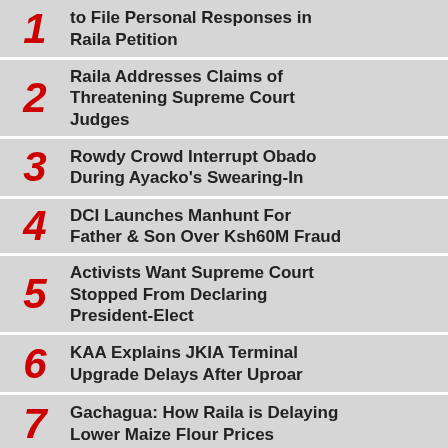1. to File Personal Responses in Raila Petition
2. Raila Addresses Claims of Threatening Supreme Court Judges
3. Rowdy Crowd Interrupt Obado During Ayacko's Swearing-In
4. DCI Launches Manhunt For Father & Son Over Ksh60M Fraud
5. Activists Want Supreme Court Stopped From Declaring President-Elect
6. KAA Explains JKIA Terminal Upgrade Delays After Uproar
7. Gachagua: How Raila is Delaying Lower Maize Flour Prices
8. (partial)